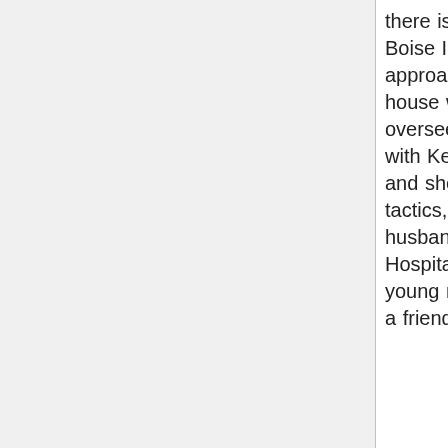there is a 1976/02/04 letter from Dodie Etlinger of Boise ID: in late February 1975 she was approached by two girls trying to lure her to a house while a car with three man pulled up to oversee, her husband was a journalist who worked with Ken Matthews on the Thomas Creech case and she remembered him discussing similar tactics, as a Post Intelligencer journalist her husband also received a call from a University Hospital security guard in 1974 claiming that a young man there who worked as a janitor and had a friend in the cast room would go by the name